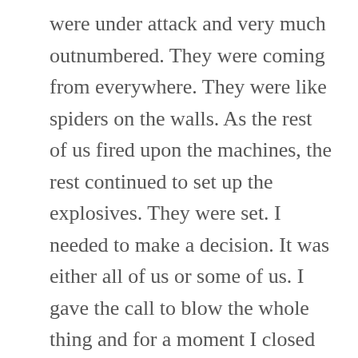were under attack and very much outnumbered. They were coming from everywhere. They were like spiders on the walls. As the rest of us fired upon the machines, the rest continued to set up the explosives. They were set. I needed to make a decision. It was either all of us or some of us. I gave the call to blow the whole thing and for a moment I closed my eyes for what was about to happen, but at that moment the rest of the crew busted in and started to fire back. They gave us a clear path to get out of there. We set the timer and we locked the rest of the